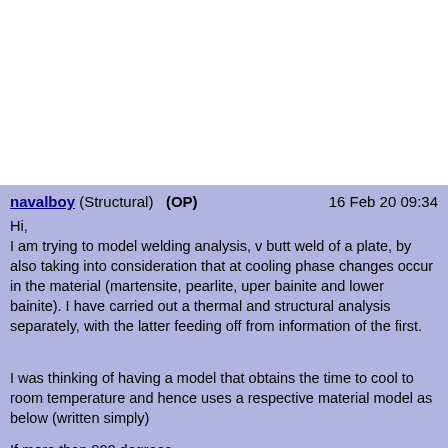navalboy (Structural)  (OP)    16 Feb 20 09:34
Hi,
I am trying to model welding analysis, v butt weld of a plate, by also taking into consideration that at cooling phase changes occur in the material (martensite, pearlite, uper bainite and lower bainite). I have carried out a thermal and structural analysis separately, with the latter feeding off from information of the first.

I was thinking of having a model that obtains the time to cool to room temperature and hence uses a respective material model as below (written simply)

If more than 900 degrees
- Martensite, T to room temperature < 10s use material 1
- Lower bainite, If T to room temperature 10s<x< 50s use material 2
- Upper bainite, If T to room temperature 50s<x< 100s use material 3